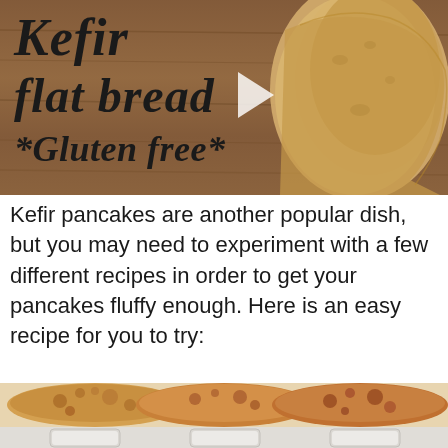[Figure (photo): Photo of kefir flat bread on a wooden surface with text overlay reading 'Kefir flat bread *Gluten free*' and stacked flatbreads on the right side. A play button triangle is visible in the center.]
Kefir pancakes are another popular dish, but you may need to experiment with a few different recipes in order to get your pancakes fluffy enough. Here is an easy recipe for you to try:
[Figure (photo): Photo of several round kefir pancakes on a surface, showing golden-brown and spotted textures. Bottom portion shows glasses/jars with white liquid.]